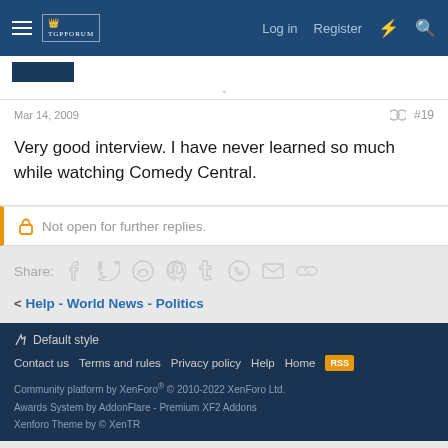Log in  Register
Mar 14, 2009  #19
Very good interview. I have never learned so much while watching Comedy Central.
Not open for further replies.
Share:
< Help - World News - Politics
Default style
Contact us  Terms and rules  Privacy policy  Help  Home
Community platform by XenForo® © 2010-2022 XenForo Ltd.
Awards System by AddonFlare - Premium XF2 Addons
Xenforo Theme by © XenTR